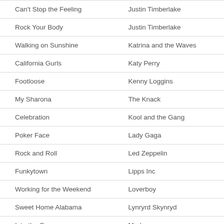| Song | Artist |
| --- | --- |
| Can't Stop the Feeling | Justin Timberlake |
| Rock Your Body | Justin Timberlake |
| Walking on Sunshine | Katrina and the Waves |
| California Gurls | Katy Perry |
| Footloose | Kenny Loggins |
| My Sharona | The Knack |
| Celebration | Kool and the Gang |
| Poker Face | Lady Gaga |
| Rock and Roll | Led Zeppelin |
| Funkytown | Lipps Inc |
| Working for the Weekend | Loverboy |
| Sweet Home Alabama | Lynryrd Skynryd |
| Into the Groove | Madonna |